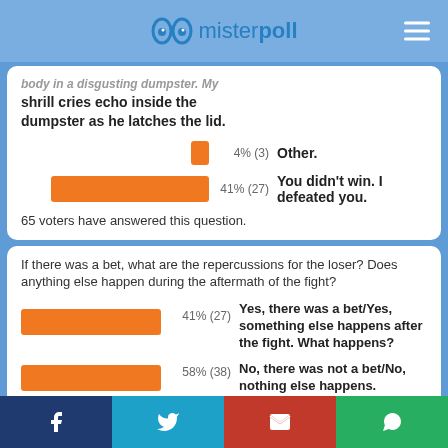misterpoll
body in a disgusting dumpster. My shrill cries echo inside the dumpster as he latches the lid.
[Figure (bar-chart): Poll results]
65 voters have answered this question.
If there was a bet, what are the repercussions for the loser? Does anything else happen during the aftermath of the fight?
[Figure (bar-chart): Poll results - bet question]
f  Twitter  Email  WhatsApp